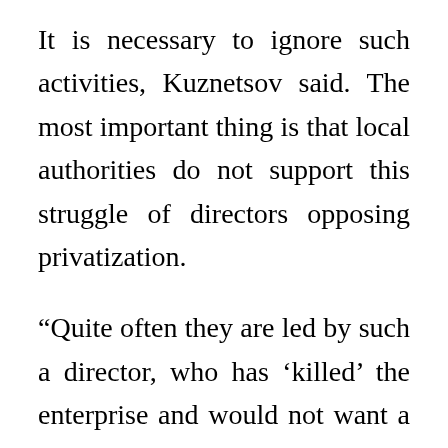It is necessary to ignore such activities, Kuznetsov said. The most important thing is that local authorities do not support this struggle of directors opposing privatization.
“Quite often they are led by such a director, who has ‘killed’ the enterprise and would not want a new investor to come,” he explained.
Belarussian government and president have adopted a privatization plan for 2011-2013. The plan includes about 180 small and